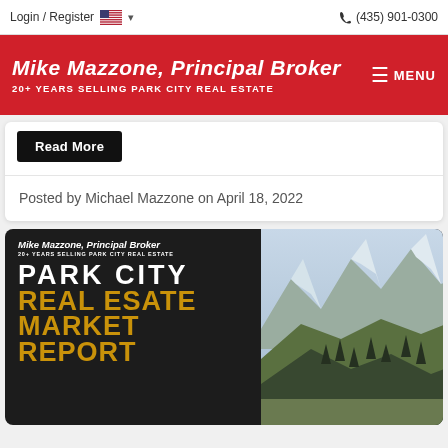Login / Register  (435) 901-0300
Mike Mazzone, Principal Broker
20+ YEARS SELLING PARK CITY REAL ESTATE
Read More
Posted by Michael Mazzone on April 18, 2022
[Figure (logo): Mike Mazzone Principal Broker logo with Park City Real Estate market report text over dark background with mountain photo]
PARK CITY
REAL ESATE
MARKET
REPORT